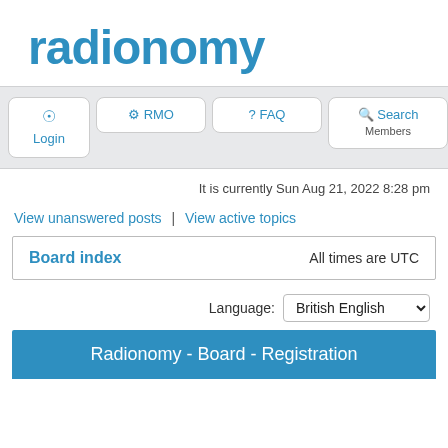radionomy
[Figure (screenshot): Navigation bar with Login, RMO, FAQ, Search, and Members buttons on a grey background]
It is currently Sun Aug 21, 2022 8:28 pm
View unanswered posts | View active topics
| Board index | All times are UTC |
| --- | --- |
Language: British English
Radionomy - Board - Registration